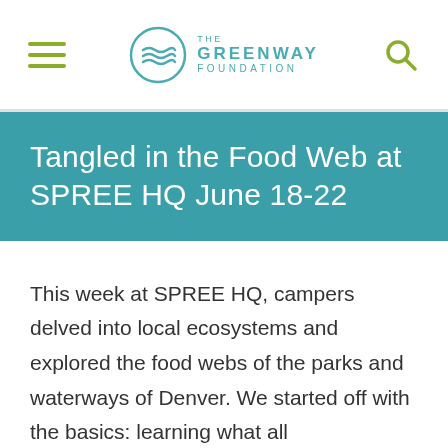THE GREENWAY FOUNDATION
Tangled in the Food Web at SPREE HQ June 18-22
This week at SPREE HQ, campers delved into local ecosystems and explored the food webs of the parks and waterways of Denver. We started off with the basics: learning what all